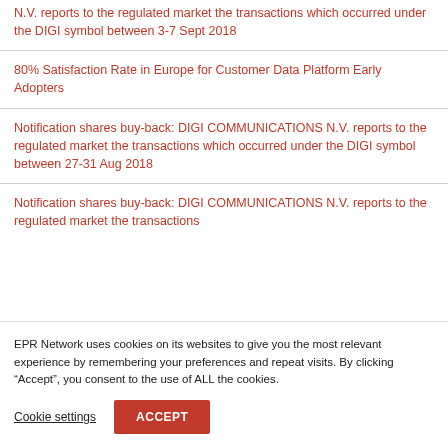N.V. reports to the regulated market the transactions which occurred under the DIGI symbol between 3-7 Sept 2018
80% Satisfaction Rate in Europe for Customer Data Platform Early Adopters
Notification shares buy-back: DIGI COMMUNICATIONS N.V. reports to the regulated market the transactions which occurred under the DIGI symbol between 27-31 Aug 2018
Notification shares buy-back: DIGI COMMUNICATIONS N.V. reports to the regulated market the transactions...
EPR Network uses cookies on its websites to give you the most relevant experience by remembering your preferences and repeat visits. By clicking “Accept”, you consent to the use of ALL the cookies.
Cookie settings | ACCEPT